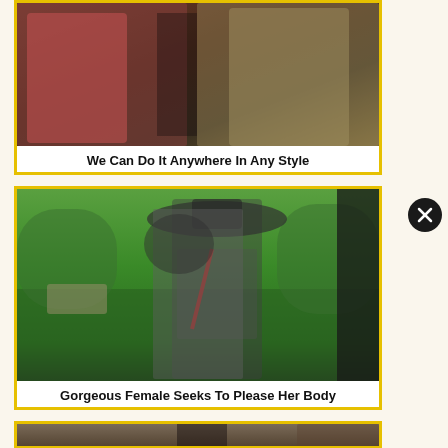[Figure (photo): Close-up photo showing two people from the waist down, one wearing red underwear and the other wearing denim shorts]
We Can Do It Anywhere In Any Style
[Figure (photo): Woman wearing a wide-brimmed black hat and striped shirt with arms crossed, standing in a park with green grass and trees in the background]
Gorgeous Female Seeks To Please Her Body
[Figure (photo): Partial view of a third card at the bottom showing an indoor scene]